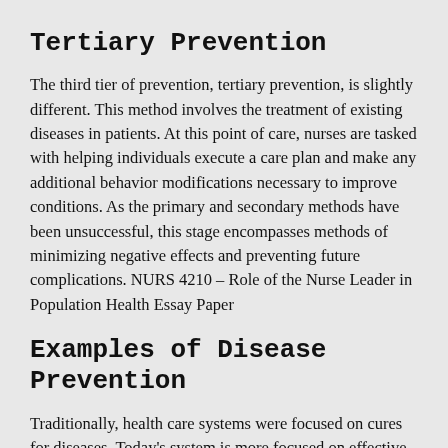Tertiary Prevention
The third tier of prevention, tertiary prevention, is slightly different. This method involves the treatment of existing diseases in patients. At this point of care, nurses are tasked with helping individuals execute a care plan and make any additional behavior modifications necessary to improve conditions. As the primary and secondary methods have been unsuccessful, this stage encompasses methods of minimizing negative effects and preventing future complications. NURS 4210 – Role of the Nurse Leader in Population Health Essay Paper
Examples of Disease Prevention
Traditionally, health care systems were focused on cures for diseases. Today's system is more focused on effective prevention techniques. Approximately 1.7 million Americans die each year from chronic diseases